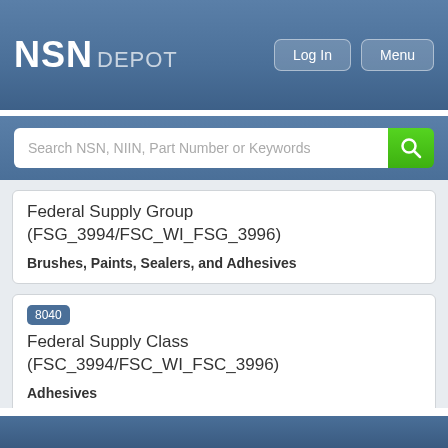NSN DEPOT
Search NSN, NIIN, Part Number or Keywords
Federal Supply Group (FSG_3994/FSC_WI_FSG_3996)
Brushes, Paints, Sealers, and Adhesives
8040
Federal Supply Class (FSC_3994/FSC_WI_FSC_3996)
Adhesives
001182695